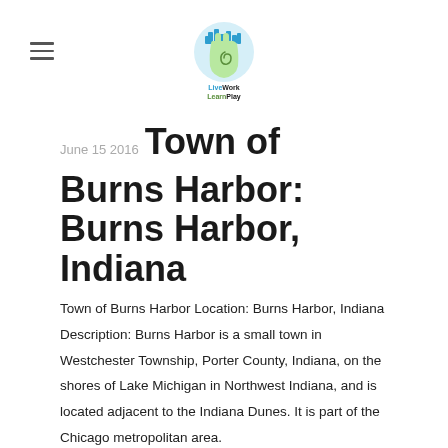[Figure (logo): LiveWork LearnPlay logo — a hand icon with city skyline and spiral design, with text 'LiveWork LearnPlay' below]
June 15 2016 Town of Burns Harbor: Burns Harbor, Indiana
Town of Burns Harbor Location: Burns Harbor, Indiana Description: Burns Harbor is a small town in Westchester Township, Porter County, Indiana, on the shores of Lake Michigan in Northwest Indiana, and is located adjacent to the Indiana Dunes. It is part of the Chicago metropolitan area. Historically tied